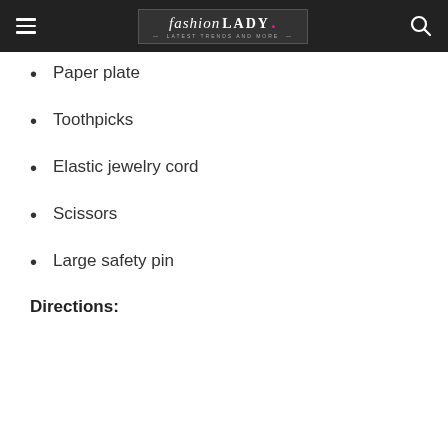fashion LADY — Latest Trends and More
Paper plate
Toothpicks
Elastic jewelry cord
Scissors
Large safety pin
Directions: